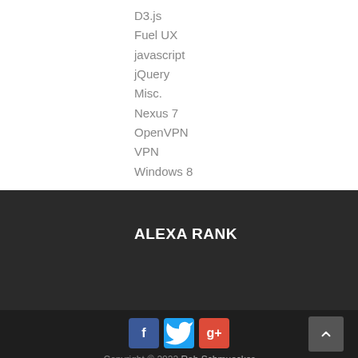D3.js
Fuel UX
javascript
jQuery
Misc.
Nexus 7
OpenVPN
VPN
Windows 8
ALEXA RANK
Copyright © 2022 Rob Schmuecker